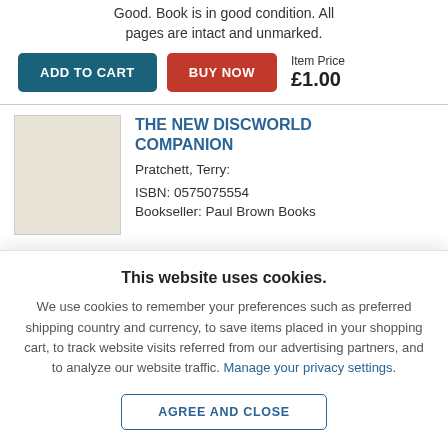Good. Book is in good condition. All pages are intact and unmarked.
ADD TO CART   BUY NOW   Item Price £1.00
THE NEW DISCWORLD COMPANION
Pratchett, Terry:
ISBN: 0575075554
Bookseller: Paul Brown Books
This website uses cookies.
We use cookies to remember your preferences such as preferred shipping country and currency, to save items placed in your shopping cart, to track website visits referred from our advertising partners, and to analyze our website traffic. Manage your privacy settings.
AGREE AND CLOSE